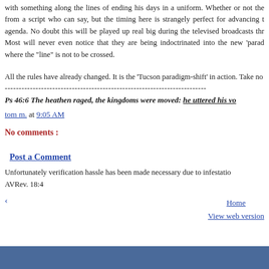with something along the lines of ending his days in a uniform. Whether or not the from a script who can say, but the timing here is strangely perfect for advancing t agenda. No doubt this will be played up real big during the televised broadcasts thr Most will never even notice that they are being indoctrinated into the new 'parad where the "line" is not to be crossed.
All the rules have already changed. It is the 'Tucson paradigm-shift' in action. Take no
------------------------------------------------------------------------
Ps 46:6 The heathen raged, the kingdoms were moved: he uttered his vo
tom m. at 9:05 AM
No comments :
Post a Comment
Unfortunately verification hassle has been made necessary due to infestatio AVRev. 18:4
‹    Home   View web version